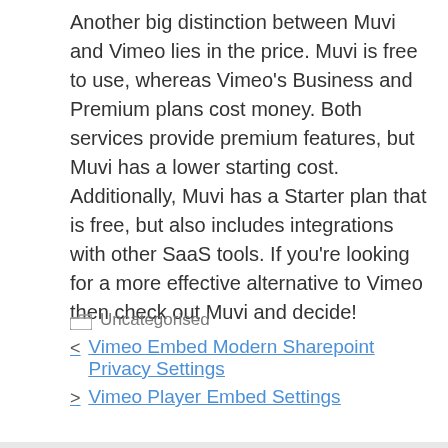Another big distinction between Muvi and Vimeo lies in the price. Muvi is free to use, whereas Vimeo's Business and Premium plans cost money. Both services provide premium features, but Muvi has a lower starting cost. Additionally, Muvi has a Starter plan that is free, but also includes integrations with other SaaS tools. If you're looking for a more effective alternative to Vimeo then check out Muvi and decide!
Uncategorised
Vimeo Embed Modern Sharepoint Privacy Settings
Vimeo Player Embed Settings